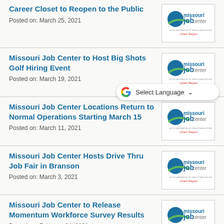Career Closet to Reopen to the Public
Posted on: March 25, 2021
Missouri Job Center to Host Big Shots Golf Hiring Event
Posted on: March 19, 2021
Missouri Job Center Locations Return to Normal Operations Starting March 15
Posted on: March 11, 2021
Missouri Job Center Hosts Drive Thru Job Fair in Branson
Posted on: March 3, 2021
Missouri Job Center to Release Momentum Workforce Survey Results
Posted on: February 24, 2021